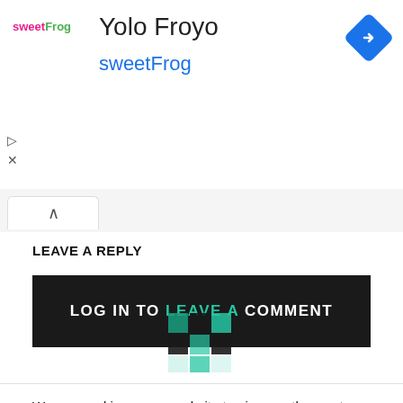[Figure (logo): sweetFrog logo with pink 'sweet' and green 'Frog' text]
Yolo Froyo
sweetFrog
[Figure (other): Blue diamond navigation/directions icon]
[Figure (other): Chevron up arrow tab indicator]
LEAVE A REPLY
[Figure (screenshot): Black button bar with text LOG IN TO LEAVE A COMMENT overlaid with a teal reCAPTCHA-style grid logo]
We use cookies on our website to give you the most relevant experience by remembering your preferences and repeat visits. By clicking “Accept”, you consent to the use of ALL the cookies.
Do not sell my personal information.
Cookie Settings
Accept